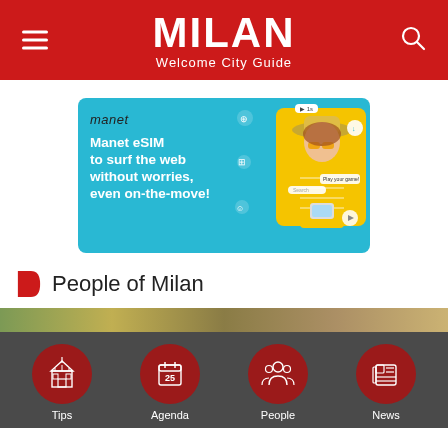MILAN Welcome City Guide
[Figure (illustration): Manet eSIM advertisement banner with blue background, showing a smiling woman in a yellow striped shirt holding a smartphone, with text: manet, Manet eSIM to surf the web without worries, even on-the-move!]
People of Milan
[Figure (photo): Partial image strip showing an outdoor scene, cropped at top of navigation bar]
[Figure (infographic): Bottom navigation bar with four red circular icons: Tips (cathedral icon), Agenda (calendar with 25), People (group icon), News (newspaper icon)]